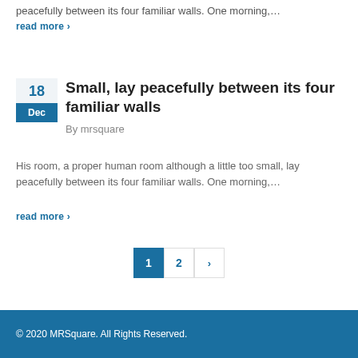peacefully between its four familiar walls. One morning,…
read more ›
Small, lay peacefully between its four familiar walls
By mrsquare
His room, a proper human room although a little too small, lay peacefully between its four familiar walls. One morning,…
read more ›
1 2 ›
© 2020 MRSquare. All Rights Reserved.